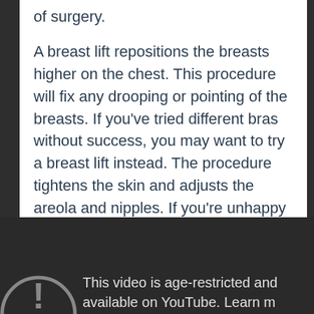of surgery.
A breast lift repositions the breasts higher on the chest. This procedure will fix any drooping or pointing of the breasts. If you've tried different bras without success, you may want to try a breast lift instead. The procedure tightens the skin and adjusts the areola and nipples. If you're unhappy with the size of your breasts, you may want to combine a breast lift and breast reduction to achieve the best results.
[Figure (screenshot): A dark-background YouTube video player showing an age-restricted video notice with a circular warning icon, text reading 'This video is age-restricted and available on YouTube. Learn m...']